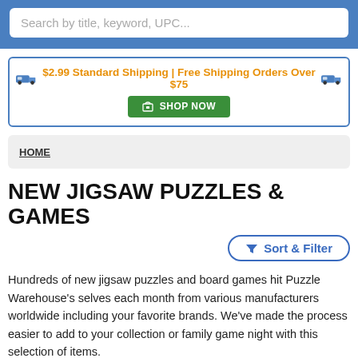Search by title, keyword, UPC...
$2.99 Standard Shipping | Free Shipping Orders Over $75  SHOP NOW
HOME
NEW JIGSAW PUZZLES & GAMES
Sort & Filter
Hundreds of new jigsaw puzzles and board games hit Puzzle Warehouse's selves each month from various manufacturers worldwide including your favorite brands. We've made the process easier to add to your collection or family game night with this selection of items.
Puzzle Warehouse supplies more than just new jigsaw